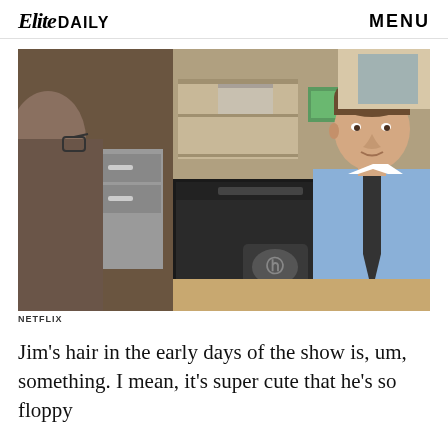Elite DAILY   MENU
[Figure (photo): Scene from The Office (Netflix): A man in a blue shirt and dark tie sits at a desk behind an HP computer monitor. Another person's back is visible in the foreground. Office cubicles and shelves visible in the background.]
NETFLIX
Jim's hair in the early days of the show is, um, something. I mean, it's super cute that he's so floppy